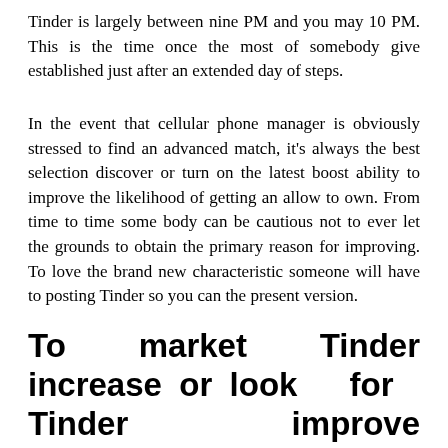Tinder is largely between nine PM and you may 10 PM. This is the time once the most of somebody give established just after an extended day of steps.
In the event that cellular phone manager is obviously stressed to find an advanced match, it's always the best selection discover or turn on the latest boost ability to improve the likelihood of getting an allow to own. From time to time some body can be cautious not to ever let the grounds to obtain the primary reason for improving. To love the brand new characteristic someone will have to posting Tinder so you can the present version.
To market Tinder increase or look for Tinder improve individual you will make use of the guides offered below